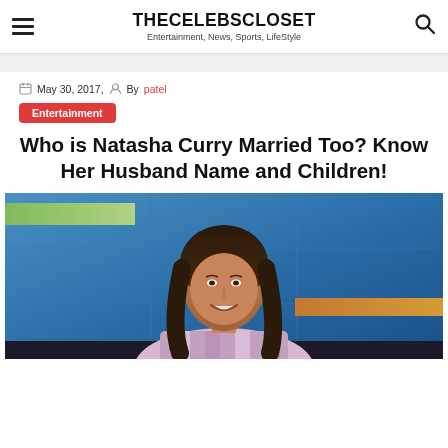THECELEBSCLOSET — Entertainment, News, Sports, LifeStyle
May 30, 2017,  By patel
Entertainment
Who is Natasha Curry Married Too? Know Her Husband Name and Children!
[Figure (photo): Photo of Natasha Curry, a woman with long dark hair smiling, seated at what appears to be a news desk with a blue studio background.]